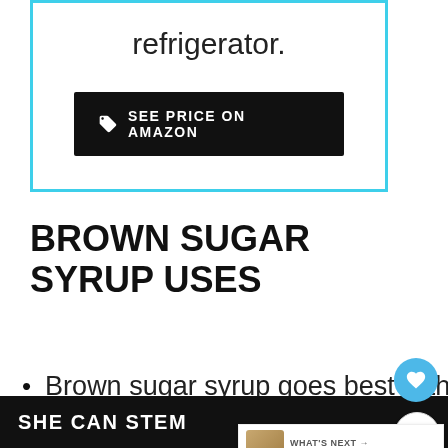refrigerator.
SEE PRICE ON AMAZON
BROWN SUGAR SYRUP USES
Brown sugar syrup goes best with dark colored drinks like hot and iced coffee and hot and iced
SHE CAN STEM